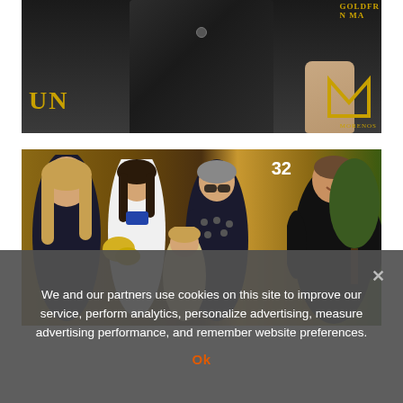[Figure (photo): Cropped photo of a person in a dark suit, torso and hands visible, with gold lettering 'UN' on the left and a gold 'M' logo (Morenos) on the right in the background]
[Figure (photo): Group photo of a family or group of five people (woman with long blonde hair in black dress, teenage girl holding yellow flowers, young boy, young child, and a muscular man in black t-shirt) standing outside a restaurant with number 32 visible]
We and our partners use cookies on this site to improve our service, perform analytics, personalize advertising, measure advertising performance, and remember website preferences.
Ok